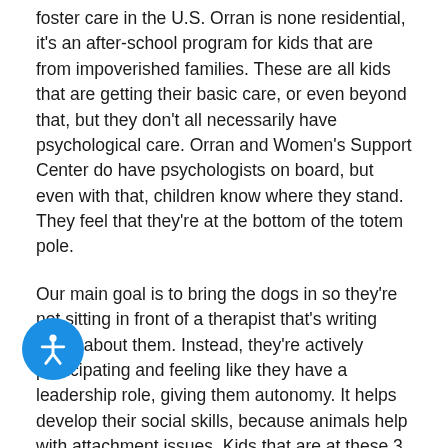foster care in the U.S. Orran is none residential, it's an after-school program for kids that are from impoverished families. These are all kids that are getting their basic care, or even beyond that, but they don't all necessarily have psychological care. Orran and Women's Support Center do have psychologists on board, but even with that, children know where they stand. They feel that they're at the bottom of the totem pole.
Our main goal is to bring the dogs in so they're not sitting in front of a therapist that's writing notes about them. Instead, they're actively participating and feeling like they have a leadership role, giving them autonomy. It helps develop their social skills, because animals help with attachment issues. Kids that are at these 3 centers have a level of mistrust in their parents or their authority figures. They have trouble forming bonds even with their peers. Dogs can really help facilitate that, and they...